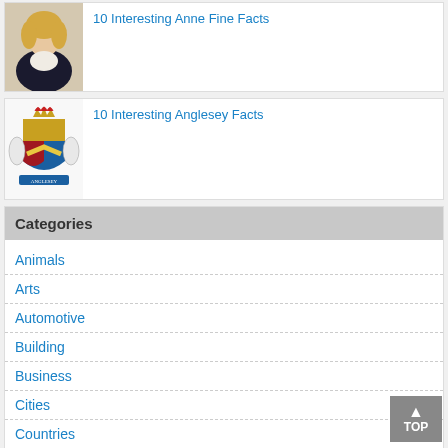[Figure (photo): Portrait photo of Anne Fine, blonde woman in dark jacket]
10 Interesting Anne Fine Facts
[Figure (illustration): Anglesey coat of arms heraldic emblem]
10 Interesting Anglesey Facts
Categories
Animals
Arts
Automotive
Building
Business
Cities
Countries
County
Culture
Disasters